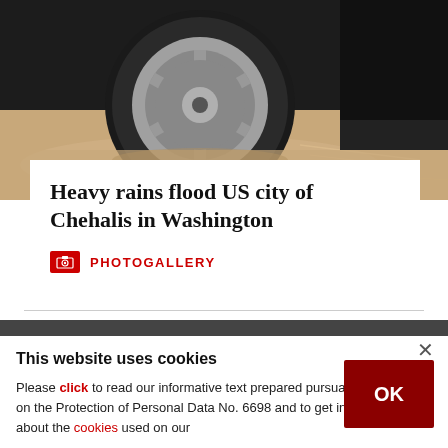[Figure (photo): Close-up photo of a car wheel/tire submerged in flood water. The alloy wheel and tire are visible against murky brown flood water with the car body dark above.]
Heavy rains flood US city of Chehalis in Washington
PHOTOGALLERY
This website uses cookies
Please click to read our informative text prepared pursuant to the Law on the Protection of Personal Data No. 6698 and to get information about the cookies used on our